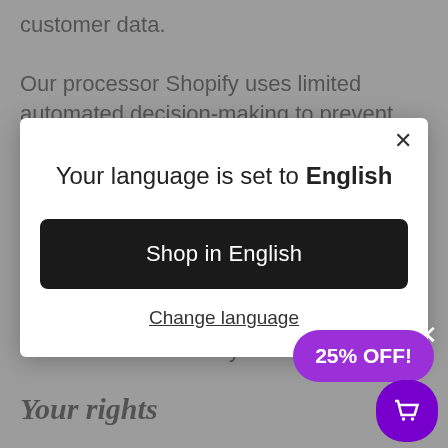customer data.
Our processor Shopify uses limited automated decision-making to prevent fraud that does not have a legal or otherwise significant effect on you.
[Figure (screenshot): Modal dialog box with white background showing language selection. Contains close X button, title 'Your language is set to English', a dark button 'Shop in English', and a 'Change language' underlined link. A purple '25% OFF!' promotional button and purple cart icon button appear in lower right corner.]
small number of days.
Your rights